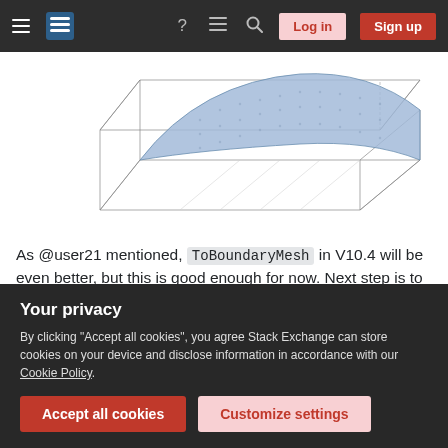Navigation bar with hamburger menu, Stack Exchange logo, help, chat, search, Log in, Sign up
[Figure (illustration): 3D wireframe box with a blue smooth curved surface inside, showing a mesh boundary result on a rectangular domain.]
As @user21 mentioned, ToBoundaryMesh in V10.4 will be even better, but this is good enough for now. Next step is to generate some dummy values on the mesh:
[Figure (screenshot): Code block showing: em=ToElementMesh[bdr, "MeshOrder"->1];]
Your privacy
By clicking "Accept all cookies", you agree Stack Exchange can store cookies on your device and disclose information in accordance with our Cookie Policy.
Accept all cookies   Customize settings
the cut-out surfaces are missing.